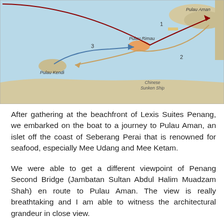[Figure (map): A map showing boat routes numbered 1, 2, and 3 between locations: Pulau Aman, Pulau Rimau, Pulau Kendi, and Chinese Sunken Ship. Route 1 goes directly to Pulau Aman (dark red arrow), Route 2 curves back from Pulau Aman through Pulau Rimau area (orange/tan arrow), Route 3 curves from Pulau Kendi toward Pulau Rimau (blue arrow). Background is light blue (sea) with land masses visible.]
After gathering at the beachfront of Lexis Suites Penang, we embarked on the boat to a journey to Pulau Aman, an islet off the coast of Seberang Perai that is renowned for seafood, especially Mee Udang and Mee Ketam.
We were able to get a different viewpoint of Penang Second Bridge (Jambatan Sultan Abdul Halim Muadzam Shah) en route to Pulau Aman. The view is really breathtaking and I am able to witness the architectural grandeur in close view.